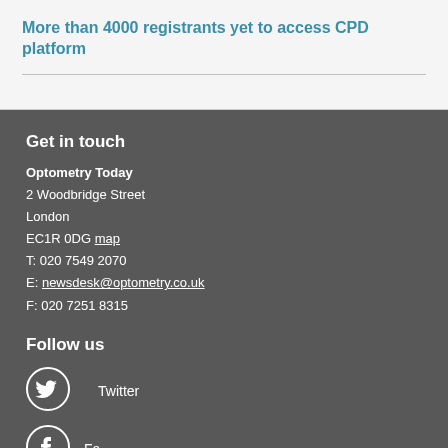More than 4000 registrants yet to access CPD platform
Get in touch
Optometry Today
2 Woodbridge Street
London
EC1R 0DG map
T: 020 7549 2070
E: newsdesk@optometry.co.uk
F: 020 7251 8315
Follow us
Twitter
Facebook